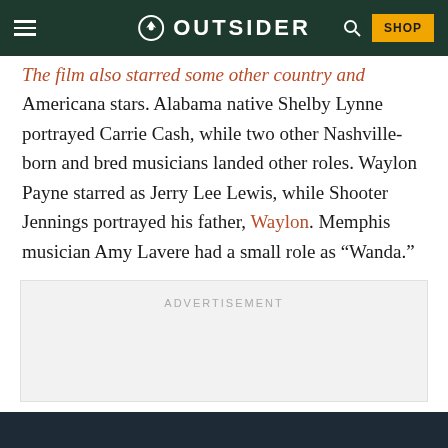OUTSIDER
The film also starred some other country and Americana stars. Alabama native Shelby Lynne portrayed Carrie Cash, while two other Nashville-born and bred musicians landed other roles. Waylon Payne starred as Jerry Lee Lewis, while Shooter Jennings portrayed his father, Waylon. Memphis musician Amy Lavere had a small role as “Wanda.”
ADVERTISEMENT